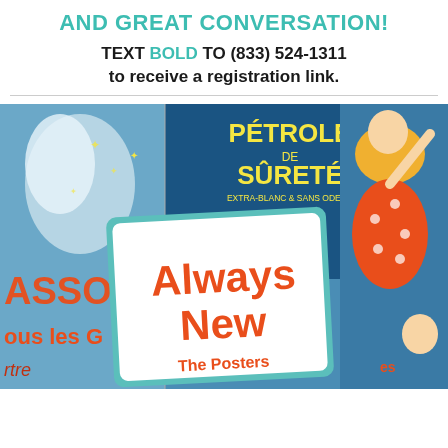AND GREAT CONVERSATION!
TEXT BOLD TO (833) 524-1311 to receive a registration link.
[Figure (photo): Collage of vintage French advertising posters including 'Petrule de Sûreté Extra-Blanc & Sans Odeur' and others, with a book titled 'Always New The Posters' overlaid in the foreground on a teal-bordered white card.]